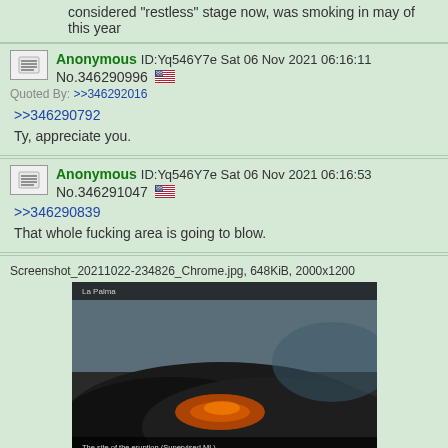considered "restless" stage now, was smoking in may of this year
Anonymous ID:Yq546Y7e Sat 06 Nov 2021 06:16:11 No.346290996 [flag]
Quoted By: >>346292016
>>346290792
Ty, appreciate you.
Anonymous ID:Yq546Y7e Sat 06 Nov 2021 06:16:53 No.346291047 [flag]
>>346290839
That whole fucking area is going to blow.
Screenshot_20211022-234826_Chrome.jpg, 648KiB, 2000x1200
[Figure (screenshot): Aerial satellite view of volcanic/crater area with text overlay: 'The site of the eruption (Supervised ML)']
Anonymous ID:cp1m42v0 Sat 06 Nov 2021 06:17:41 No.346291098 [flag]
Quoted By: >>346291307 >>346291425
>>346289502
>it was a satellite pic posted about 3 weeks ago
I never thought to do an image search, because I couldn't get over the